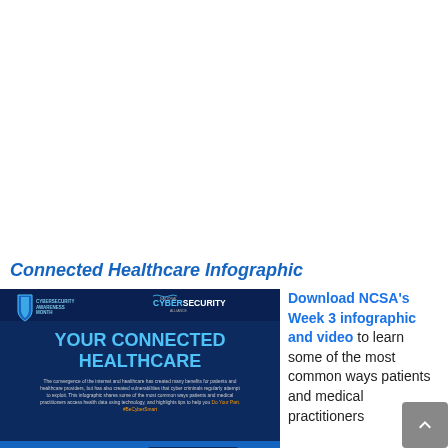Connected Healthcare Infographic
[Figure (infographic): Cybersecurity Awareness Month / National Cybersecurity Alliance infographic titled 'YOUR CONNECTED HEALTHCARE'. Shows convergence of internet and healthcare creating vulnerabilities. Footer shows 'TELEHEALTH' section.]
Download NCSA's Week 3 infographic and video to learn some of the most common ways patients and medical practitioners